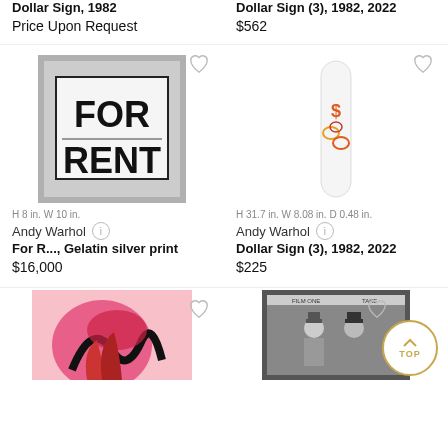Dollar Sign, 1982
Price Upon Request
Dollar Sign (3), 1982, 2022
$562
[Figure (photo): Black and white photograph of a FOR RENT sign with bold black text on white background]
H 8 in. W 10 in.
Andy Warhol
For R..., Gelatin silver print
$16,000
[Figure (photo): White skateboard deck with colorful dollar sign graphic in orange and red]
H 31.7 in. W 8.08 in. D 0.48 in.
Andy Warhol
Dollar Sign (3), 1982, 2022
$225
[Figure (photo): Pink and black abstract artwork partially visible at bottom left]
[Figure (photo): Black and white photograph of two men in hats, framed, partially visible at bottom right]